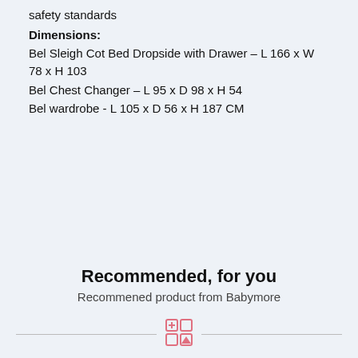safety standards
Dimensions:
Bel Sleigh Cot Bed Dropside with Drawer – L 166 x W 78 x H 103
Bel Chest Changer – L 95 x D 98 x H 54
Bel wardrobe  - L 105 x D 56 x H 187 CM
Recommended, for you
Recommened product from Babymore
[Figure (logo): Babymore logo icon with grid of four squares (plus, square, triangle pattern) in pink/salmon color]